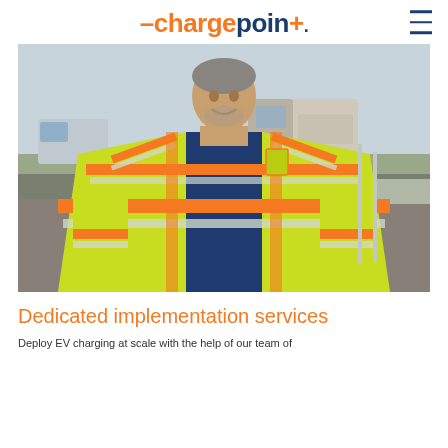ChargePoint
[Figure (photo): A smiling man wearing a bright yellow-green safety vest with orange and silver reflective stripes, standing outdoors at a construction or installation site with vehicles and equipment in the background.]
Dedicated implementation services
Deploy EV charging at scale with the help of our team of